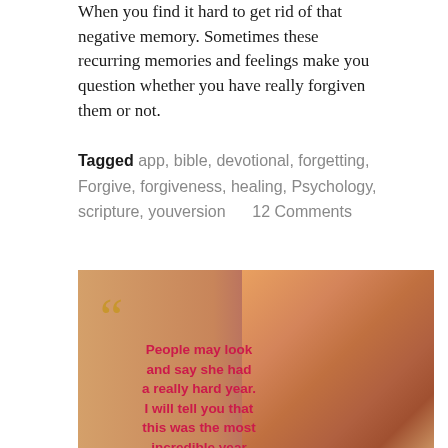When you find it hard to get rid of that negative memory. Sometimes these recurring memories and feelings make you question whether you have really forgiven them or not.
Tagged app, bible, devotional, forgetting, Forgive, forgiveness, healing, Psychology, scripture, youversion    12 Comments
[Figure (photo): Photo of a Black woman looking upward with a quote overlay. Large orange quotation marks at top left. Red bold text reads: 'People may look and say she had a really hard year. I will tell you that this was the most incredible year of my life. 2019 was truly an adventure with God and I am'. Background has warm orange and tan tones.]